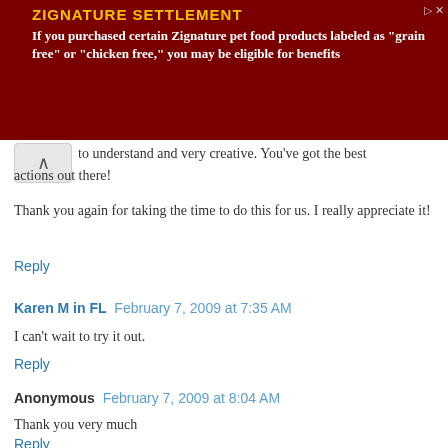[Figure (infographic): Advertisement banner for Zignature Settlement with dark red background. Title: 'ZIGNATURE SETTLEMENT'. Body text: 'If you purchased certain Zignature pet food products labeled as "grain free" or "chicken free," you may be eligible for benefits'. Has a 'LEGAL NOTICE' sidebar on the left.]
to understand and very creative. You've got the best actions out there!
Thank you again for taking the time to do this for us. I really appreciate it!
Reply
Karen M in FL  February 7, 2009 at 7:35 AM
I can't wait to try it out.
Reply
Anonymous  February 7, 2009 at 8:04 AM
Thank you very much
Reply